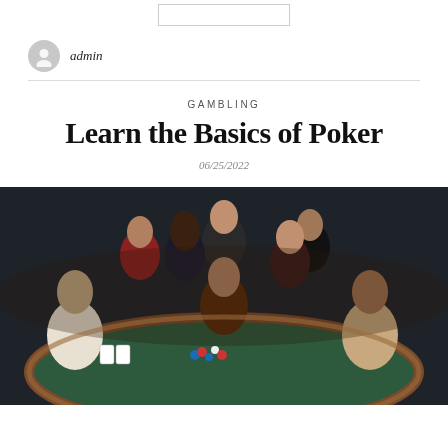admin
GAMBLING
Learn the Basics of Poker
06/25/2022
[Figure (photo): Group of people seated and standing around a green poker table in a dark studio setting, playing poker with chips on the table.]